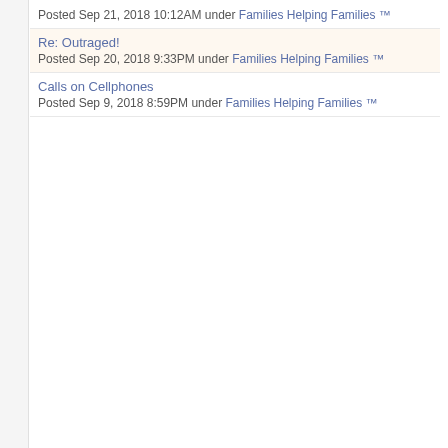Posted Sep 21, 2018 10:12AM under Families Helping Families ™
Re: Outraged!
Posted Sep 20, 2018 9:33PM under Families Helping Families ™
Calls on Cellphones
Posted Sep 9, 2018 8:59PM under Families Helping Families ™